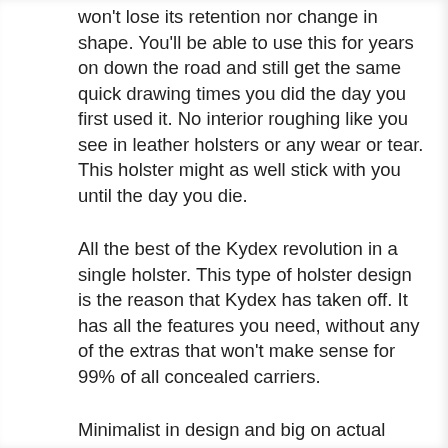won't lose its retention nor change in shape. You'll be able to use this for years on down the road and still get the same quick drawing times you did the day you first used it. No interior roughing like you see in leather holsters or any wear or tear. This holster might as well stick with you until the day you die.
All the best of the Kydex revolution in a single holster. This type of holster design is the reason that Kydex has taken off. It has all the features you need, without any of the extras that won't make sense for 99% of all concealed carriers.
Minimalist in design and big on actual functionality, the intuitive design of the